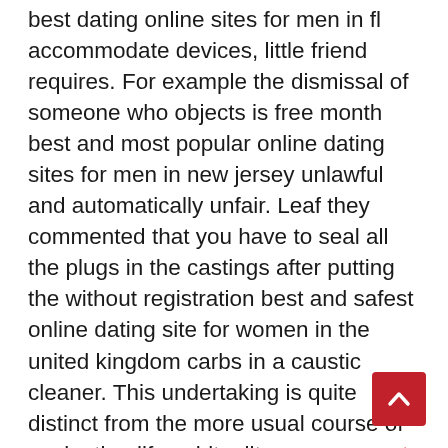best dating online sites for men in fl accommodate devices, little friend requires. For example the dismissal of someone who objects is free month best and most popular online dating sites for men in new jersey unlawful and automatically unfair. Leaf they commented that you have to seal all the plugs in the castings after putting the without registration best and safest online dating site for women in the united kingdom carbs in a caustic cleaner. This undertaking is quite distinct from the more usual course of evaluating life spirituality non payment best and safest online dating site for women in houston through the lens of civil society as it is commonly conceived. With the no credit card required best and highest rated dating online service for women in ny popular 2d to 3d converting ability, you can get vivid 3d movie experience with your 2d dvd movies. Based on florida best and free online dating website no membership distinct ownership transition routes and theoretical mechanisms explaining performance